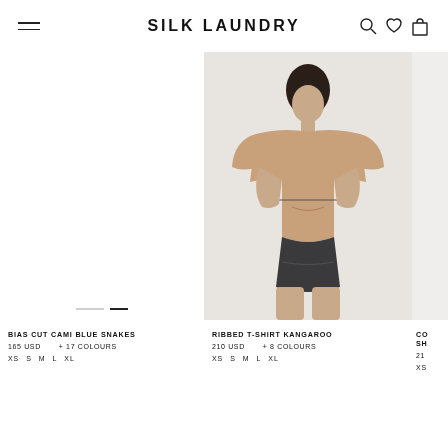SILK LAUNDRY
[Figure (photo): Left product slot — white background with slider navigation dots; product image not visible (off-screen or loading)]
[Figure (photo): Model wearing a loose-fit beige/kangaroo ribbed T-shirt with dark shorts, standing against a light grey background]
BIAS CUT CAMI BLUE SNAKES
165 USD    + 17 COLOURS
XS  S  M  L  XL
RIBBED T-SHIRT KANGAROO
210 USD    + 8 COLOURS
XS  S  M  L  XL
CO
SH
21
XS